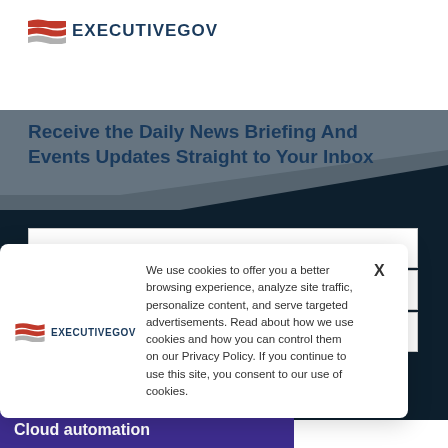[Figure (logo): ExecutiveGov logo with red wave/flag icon and dark blue text]
Receive the Daily News Briefing And Events Updates Straight to Your Inbox
[Figure (screenshot): Web form with FIRST NAME, LAST NAME, EMAIL fields on dark background]
[Figure (logo): ExecutiveGov logo (small, inside cookie banner)]
We use cookies to offer you a better browsing experience, analyze site traffic, personalize content, and serve targeted advertisements. Read about how we use cookies and how you can control them on our Privacy Policy. If you continue to use this site, you consent to our use of cookies.
Cloud automation